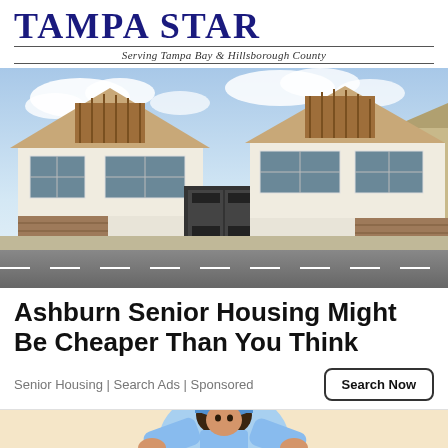Tampa Star — Serving Tampa Bay & Hillsborough County
[Figure (photo): Two modern white houses with wooden accents and peaked roofs, viewed from across the street. The houses have horizontal wooden slat fencing at street level, a gate between them, and there is a road in the foreground. The sky is partly cloudy.]
Ashburn Senior Housing Might Be Cheaper Than You Think
Senior Housing | Search Ads | Sponsored
Search Now
[Figure (illustration): Partial view of an illustrated character with blue hair and a light blue outfit, against a light beige background. Only the upper portion is visible, suggesting an advertisement illustration.]